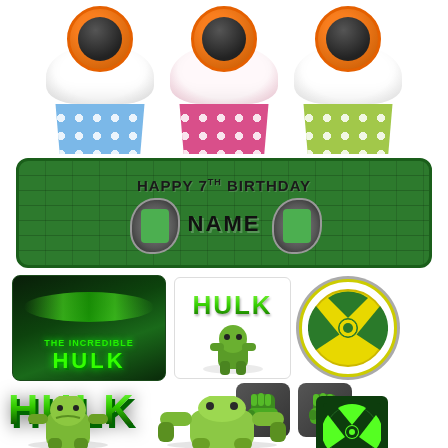[Figure (photo): Three cupcakes with white frosting in blue, pink, and green polka-dot wrappers, each topped with an Incredible Hulk themed disc topper]
[Figure (illustration): Personalised birthday banner on green brick-pattern background reading HAPPY 7TH BIRTHDAY with NAME placeholder and Hulk fist icons]
[Figure (illustration): Row of Hulk-themed stickers: Incredible Hulk movie banner, Hulk logo with character, and radiation/nuclear symbol]
[Figure (illustration): Large 3D green HULK text logo, two green Hulk fist stickers]
[Figure (illustration): Bottom row of Hulk character stickers and green radiation symbol on dark background]